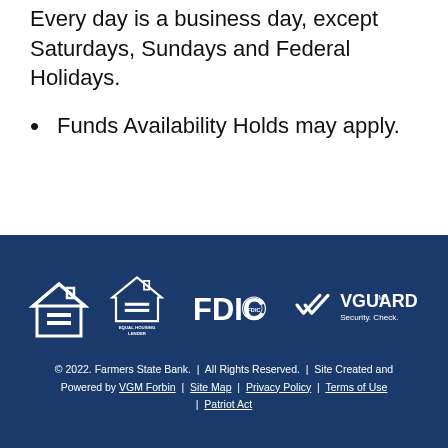Every day is a business day, except Saturdays, Sundays and Federal Holidays.
Funds Availability Holds may apply.
[Figure (logo): Equal Housing Lender, FDIC, and VGuard Security Check logos on dark blue footer background]
© 2022. Farmers State Bank. | All Rights Reserved. | Site Created and Powered by VGM Forbin | Site Map | Privacy Policy | Terms of Use | Patriot Act